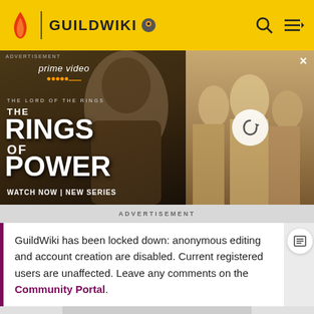GUILDWIKI
[Figure (screenshot): Amazon Prime Video advertisement for The Lord of the Rings: The Rings of Power. Left panel shows the title text 'THE RINGS OF POWER' with 'WATCH NOW | NEW SERIES' and a hooded figure. Right panel shows characters with a refresh/reload icon overlay.]
ADVERTISEMENT
GuildWiki has been locked down: anonymous editing and account creation are disabled. Current registered users are unaffected. Leave any comments on the Community Portal.